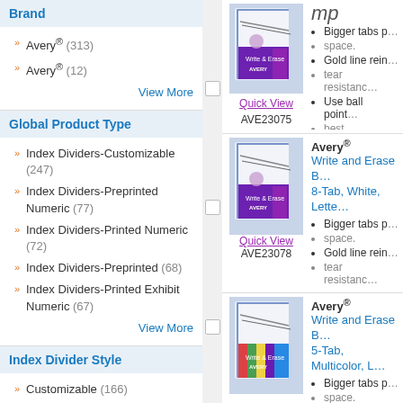Brand
Avery® (313)
Avery® (12)
View More
Global Product Type
Index Dividers-Customizable (247)
Index Dividers-Preprinted Numeric (77)
Index Dividers-Printed Numeric (72)
Index Dividers-Preprinted (68)
Index Dividers-Printed Exhibit Numeric (67)
View More
Index Divider Style
Customizable (166)
Arabic Numeric (70)
Legal Arabic Numeric (66)
Legal Alpha (53)
Insertable Tab (43)
[Figure (photo): Avery Write and Erase Big Tab Dividers 5-Tab product image]
Quick View
AVE23075
mp
Avery®
Write and Erase Big Tab Dividers, 8-Tab, White, Letter
Bigger tabs provide more writing space.
Gold line reinforcement strip for tear resistance.
Use ball point or felt tip pens for best performance.
[Figure (photo): Avery Write and Erase Big Tab Dividers 8-Tab product image]
Quick View
AVE23078
[Figure (illustration): Eco/recycling icon]
Avery®
Write and Erase Big Tab Dividers, 5-Tab, Multicolor, Letter
Bigger tabs provide more writing space.
Gold line reinforcement strip for tear resistance.